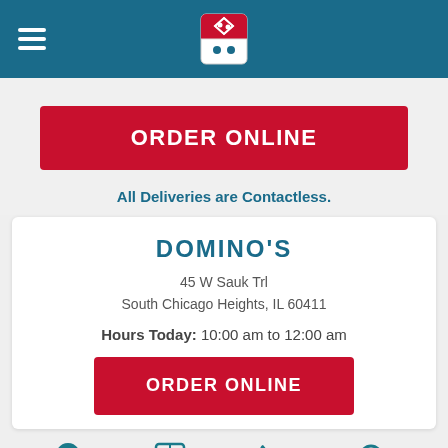[Figure (logo): Domino's Pizza logo — red and blue domino tile with white dots, centered in teal header bar with hamburger menu icon on left]
ORDER ONLINE
All Deliveries are Contactless.
DOMINO'S
45 W Sauk Trl
South Chicago Heights, IL 60411
Hours Today: 10:00 am to 12:00 am
ORDER ONLINE
[Figure (infographic): Four navigation icons: Map (location pin), Details (newspaper/document), Call (phone), Search (magnifying glass)]